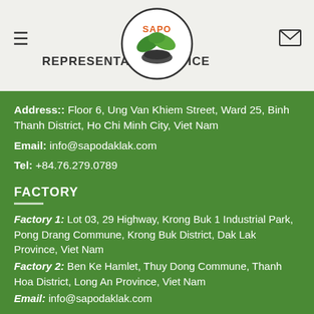REPRESENTATIVE OFFICE
[Figure (logo): SAPO logo: circular logo with green leaves and hand, orange SAPO text]
Address:: Floor 6, Ung Van Khiem Street, Ward 25, Binh Thanh District, Ho Chi Minh City, Viet Nam
Email: info@sapodaklak.com
Tel: +84.76.279.0789
FACTORY
Factory 1: Lot 03, 29 Highway, Krong Buk 1 Industrial Park, Pong Drang Commune, Krong Buk District, Dak Lak Province, Viet Nam
Factory 2: Ben Ke Hamlet, Thuy Dong Commune, Thanh Hoa District, Long An Province, Viet Nam
Email: info@sapodaklak.com